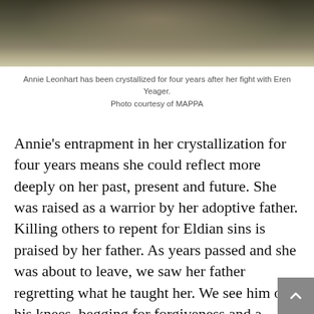[Figure (photo): A blurred/grainy photo of Annie Leonhart from the anime Attack on Titan, shown in crystallized form, with a dark and muted color palette.]
Annie Leonhart has been crystallized for four years after her fight with Eren Yeager.
Photo courtesy of MAPPA
Annie's entrapment in her crystallization for four years means she could reflect more deeply on her past, present and future. She was raised as a warrior by her adoptive father. Killing others to repent for Eldian sins is praised by her father. As years passed and she was about to leave, we saw her father regretting what he taught her. We see him on his knees, begging for forgiveness and a promise for her return.